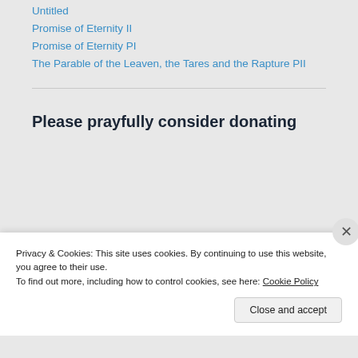Untitled
Promise of Eternity II
Promise of Eternity PI
The Parable of the Leaven, the Tares and the Rapture PII
Please prayfully consider donating
Privacy & Cookies: This site uses cookies. By continuing to use this website, you agree to their use.
To find out more, including how to control cookies, see here: Cookie Policy
Close and accept